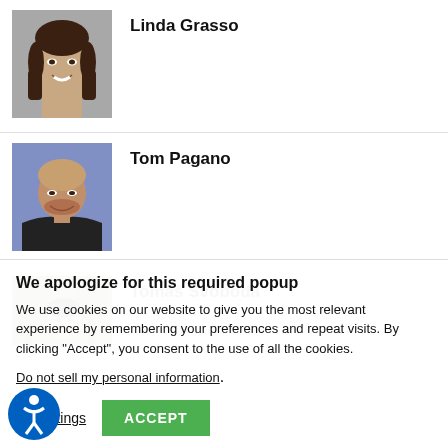[Figure (photo): Headshot of Linda Grasso, a woman with dark hair smiling against a neutral background]
Linda Grasso
[Figure (photo): Headshot of Tom Pagano, a bald man in a dark suit smiling against a blue-purple background]
Tom Pagano
[Figure (photo): Partial photo of Tomáš Svoboda with outdoor background]
Tomáš Svoboda
We apologize for this required popup
We use cookies on our website to give you the most relevant experience by remembering your preferences and repeat visits. By clicking “Accept”, you consent to the use of all the cookies.
Do not sell my personal information.
kie settings
ACCEPT